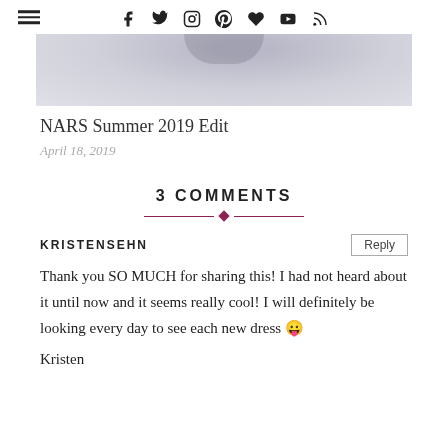Navigation and social icons: hamburger menu, Facebook, Twitter, Instagram, Pinterest, Heart/Bloglovin, YouTube, RSS
[Figure (photo): Partial hero image showing a light grey/lavender background with some dark elements visible at top, likely a product or lifestyle photo for 'NARS Summer 2019 Edit']
NARS Summer 2019 Edit
April 18, 2019
3 COMMENTS
KRISTENSEHN
Thank you SO MUCH for sharing this! I had not heard about it until now and it seems really cool! I will definitely be looking every day to see each new dress 😛
Kristen